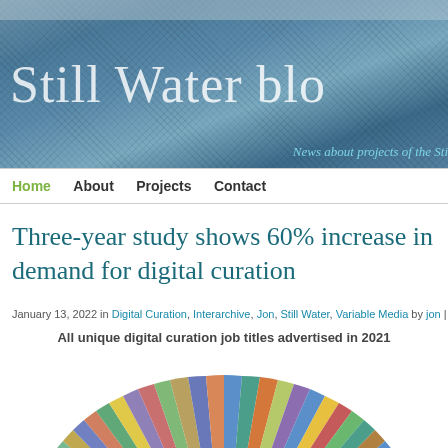[Figure (photo): Still Water blog header image showing corrugated metal surface with blue tones and the text 'Still Water blo' overlaid in large serif font, with italic tagline 'News about projects of the Sti']
Home   About   Projects   Contact
Three-year study shows 60% increase in demand for digital curation
January 13, 2022 in Digital Curation, Interarchive, Jon, Still Water, Variable Media by jon | Permalink
All unique digital curation job titles advertised in 2021
[Figure (pie-chart): Colorful pie/donut chart showing all unique digital curation job titles advertised in 2021, with many thin multicolored slices radiating from center, partially visible at bottom of page]